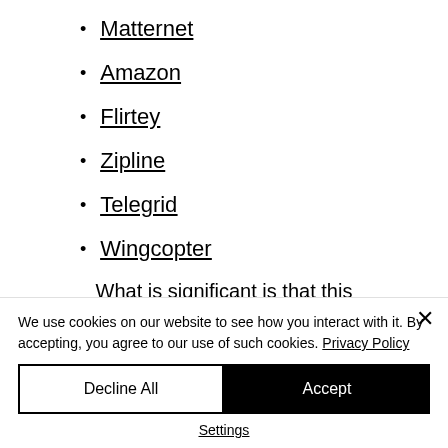Matternet
Amazon
Flirtey
Zipline
Telegrid
Wingcopter
What is significant is that this
We use cookies on our website to see how you interact with it. By accepting, you agree to our use of such cookies. Privacy Policy
Decline All
Accept
Settings